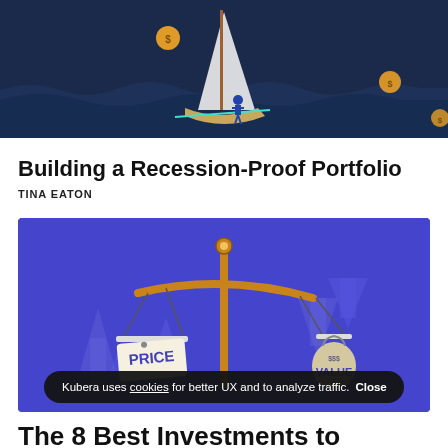[Figure (illustration): Illustration of a person standing on a sailboat at night on dark blue wavy water, with gold coin symbols floating nearby]
Building a Recession-Proof Portfolio
TINA EATON
[Figure (illustration): Illustration of a balance scale on blue background with upward arrows; left pan holds a price tag labeled PRICE, right pan holds a money bag labeled VALUE with $$$ on it. Cookie consent bar overlaid at bottom reading: Kubera uses cookies for better UX and to analyze traffic. Close]
The 8 Best Investments to Protect